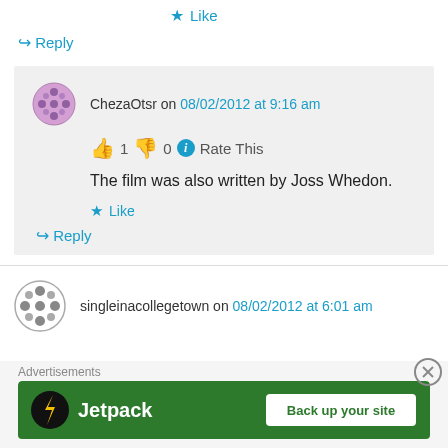★ Like
↪ Reply
ChezaOtsr on 08/02/2012 at 9:16 am
👍 1 👎 0 ℹ Rate This
The film was also written by Joss Whedon.
★ Like
↪ Reply
singleinacollegetown on 08/02/2012 at 6:01 am
Advertisements
[Figure (other): Jetpack advertisement banner with 'Back up your site' button on green background]